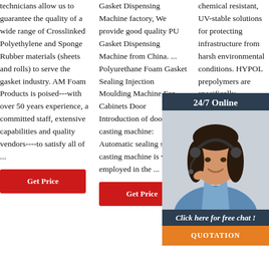technicians allow us to guarantee the quality of a wide range of Crosslinked Polyethylene and Sponge Rubber materials (sheets and rolls) to serve the gasket industry. AM Foam Products is poised---with over 50 years experience, a committed staff, extensive capabilities and quality vendors----to satisfy all of ...
Gasket Dispensing Machine factory, We provide good quality PU Gasket Dispensing Machine from China. ... Polyurethane Foam Gasket Sealing Injection Moulding Machine For Cabinets Door Introduction of door gasket casting machine: Automatic sealing strip casting machine is widely employed in the ...
chemical resistant, UV-stable solutions for protecting infrastructure from harsh environmental conditions. HYPOL prepolymers are specifically formulated hydrophilic polyurethanes when mixed with isocyanate reactive components such as water, alcohols ...